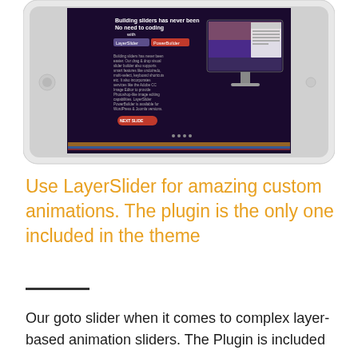[Figure (screenshot): Screenshot of a tablet/iPad device showing a dark-themed LayerSlider WordPress plugin interface with text 'No need to coding with LayerSlider PowerBuilder' and a desktop iMac screen in the background. There is a red 'NEXT SLIDE' button and navigation dots visible.]
Use LayerSlider for amazing custom animations. The plugin is the only one included in the theme
Our goto slider when it comes to complex layer-based animation sliders. The Plugin is included as